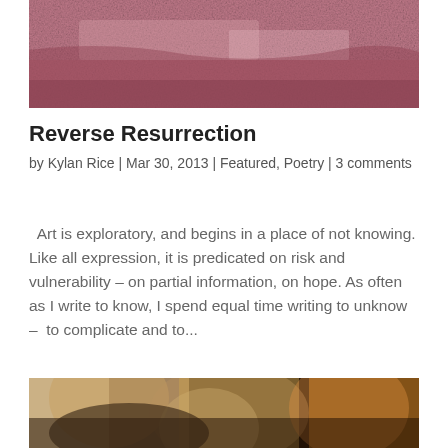[Figure (photo): Faded reddish-pink textured wall or surface, partially cropped at top of page]
Reverse Resurrection
by Kylan Rice | Mar 30, 2013 | Featured, Poetry | 3 comments
Art is exploratory, and begins in a place of not knowing. Like all expression, it is predicated on risk and vulnerability – on partial information, on hope. As often as I write to know, I spend equal time writing to unknow –  to complicate and to...
[Figure (photo): Classical painting showing several figures huddled together, appearing to be Caravaggio's The Incredulity of Saint Thomas, partially cropped at bottom of page]